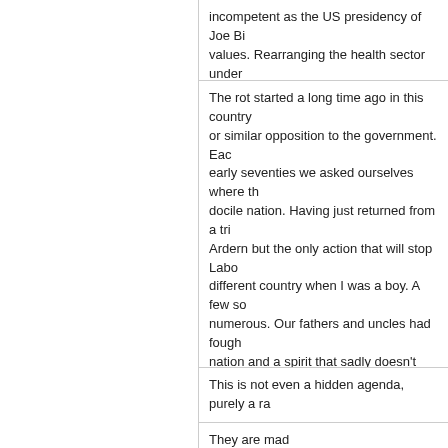incompetent as the US presidency of Joe Bi... values. Rearranging the health sector under...
The rot started a long time ago in this country or similar opposition to the government. Each early seventies we asked ourselves where th... docile nation. Having just returned from a tri... Ardern but the only action that will stop Labo... different country when I was a boy. A few so... numerous. Our fathers and uncles had fough... nation and a spirit that sadly doesn't exist to... climate' I will keep it to myself and reflect on ! This once was a country of great character.
This is not even a hidden agenda, purely a ra...
They are mad
The Maori caucus are running NZ right now w... Maybe the Maori caucus plans suit her socia...
Racism
Whilst it is accepted that the current DHB str... system – under the control of bureaucrats wi...